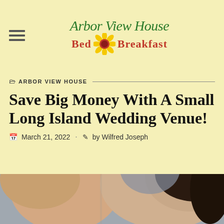[Figure (logo): Arbor View House Bed & Breakfast logo with sunflower and script/bold text in green and red]
ARBOR VIEW HOUSE
Save Big Money With A Small Long Island Wedding Venue!
March 21, 2022 · by Wilfred Joseph
[Figure (photo): Close-up photo of a couple, bride and groom, faces near each other]